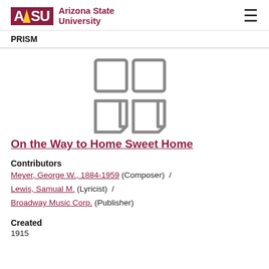ASU Arizona State University | PRISM
[Figure (illustration): Four document/file icons arranged in a 2x2 grid, gray outlined squares and document shapes]
On the Way to Home Sweet Home
Contributors
Meyer, George W., 1884-1959 (Composer) / Lewis, Samual M. (Lyricist) / Broadway Music Corp. (Publisher)
Created
1915